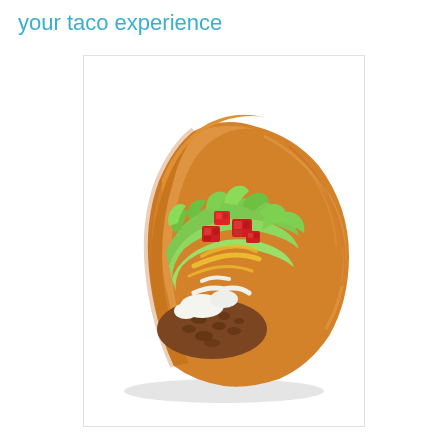your taco experience
[Figure (photo): A taco with a golden-brown crispy fried shell filled with seasoned ground beef, sour cream, shredded lettuce, diced red tomatoes, yellow cheese, in an appealing food photography style.]